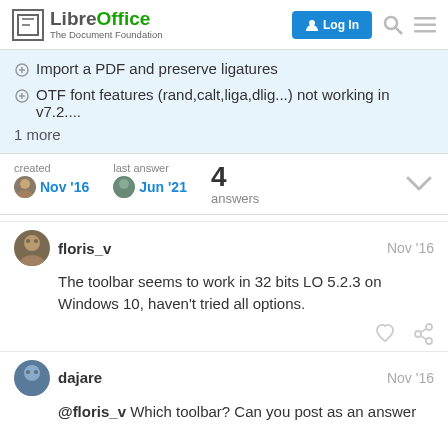LibreOffice - The Document Foundation | Log In
Import a PDF and preserve ligatures
OTF font features (rand,calt,liga,dlig...) not working in v7.2....
1 more
| created | last answer | 4 answers |
| --- | --- | --- |
| Nov '16 | Jun '21 |  |
floris_v   Nov '16
The toolbar seems to work in 32 bits LO 5.2.3 on Windows 10, haven't tried all options.
dajare   Nov '16
@floris_v Which toolbar? Can you post as an answer